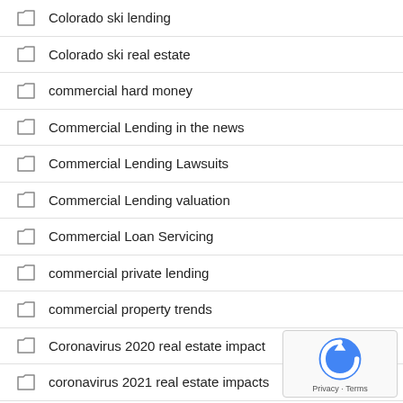Colorado ski lending
Colorado ski real estate
commercial hard money
Commercial Lending in the news
Commercial Lending Lawsuits
Commercial Lending valuation
Commercial Loan Servicing
commercial private lending
commercial property trends
Coronavirus 2020 real estate impact
coronavirus 2021 real estate impacts
credit scoring